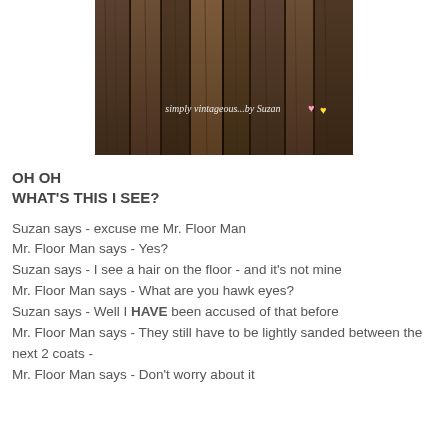[Figure (photo): Close-up photo of wooden floor boards with a watermark text reading 'simply vintageous...by Suzan' with pink and yellow heart emoji icons in the lower portion of the image.]
OH OH
WHAT'S THIS I SEE?
Suzan says - excuse me Mr. Floor Man
Mr. Floor Man says - Yes?
Suzan says - I see a hair on the floor - and it's not mine
Mr. Floor Man says - What are you hawk eyes?
Suzan says - Well I HAVE been accused of that before
Mr. Floor Man says - They still have to be lightly sanded between the next 2 coats -
Mr. Floor Man says - Don't worry about it